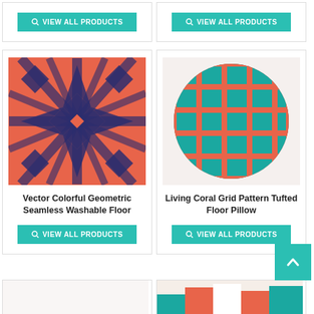[Figure (infographic): Top-left product card showing VIEW ALL PRODUCTS button (teal) — partially visible, cropped at top]
[Figure (infographic): Top-right product card showing VIEW ALL PRODUCTS button (teal) — partially visible, cropped at top]
[Figure (photo): Coral and navy geometric star/diamond pattern decorative floor pillow product image]
Vector Colorful Geometric Seamless Washable Floor
VIEW ALL PRODUCTS
[Figure (photo): Teal and coral grid pattern round tufted floor pillow product image]
Living Coral Grid Pattern Tufted Floor Pillow
VIEW ALL PRODUCTS
[Figure (photo): Bottom-left product card — partially visible, cropped]
[Figure (photo): Bottom-right product card — partially visible with colorful pattern, cropped]